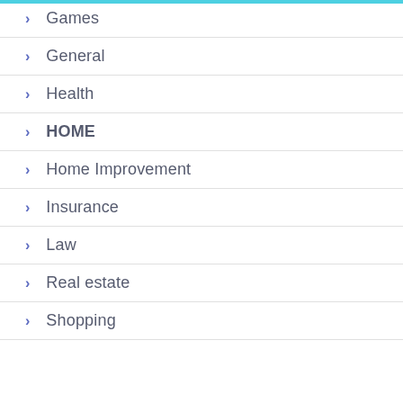Games
General
Health
HOME
Home Improvement
Insurance
Law
Real estate
Shopping